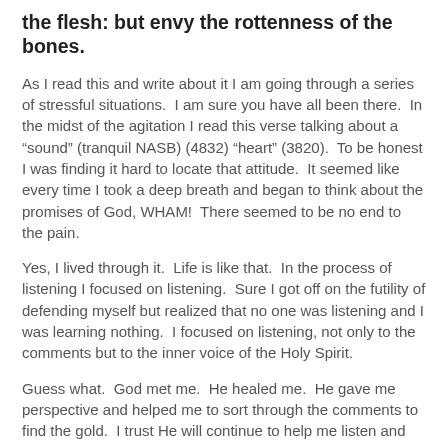the flesh: but envy the rottenness of the bones.
As I read this and write about it I am going through a series of stressful situations.  I am sure you have all been there.  In the midst of the agitation I read this verse talking about a “sound” (tranquil NASB) (4832) “heart” (3820).  To be honest I was finding it hard to locate that attitude.  It seemed like every time I took a deep breath and began to think about the promises of God, WHAM!  There seemed to be no end to the pain.
Yes, I lived through it.  Life is like that.  In the process of listening I focused on listening.  Sure I got off on the futility of defending myself but realized that no one was listening and I was learning nothing.  I focused on listening, not only to the comments but to the inner voice of the Holy Spirit.
Guess what.  God met me.  He healed me.  He gave me perspective and helped me to sort through the comments to find the gold.  I trust He will continue to help me listen and grow.